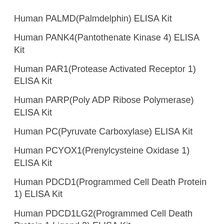Human PALMD(Palmdelphin) ELISA Kit
Human PANK4(Pantothenate Kinase 4) ELISA Kit
Human PAR1(Protease Activated Receptor 1) ELISA Kit
Human PARP(Poly ADP Ribose Polymerase) ELISA Kit
Human PC(Pyruvate Carboxylase) ELISA Kit
Human PCYOX1(Prenylcysteine Oxidase 1) ELISA Kit
Human PDCD1(Programmed Cell Death Protein 1) ELISA Kit
Human PDCD1LG2(Programmed Cell Death Protein 1 Ligand 2) ELISA Kit
Human PDE10A(Phosphodiesterase 10A) ELISA Kit
Human PDIA4(Protein Disulfide Isomerase A4) ELISA Kit
Human PGAM1(Phosphoglycerate Mutase 1, Brain)